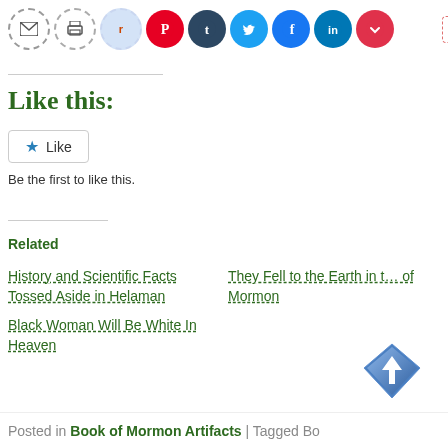[Figure (infographic): Social media sharing buttons row: email, print, reddit, pinterest, tumblr, twitter, facebook, linkedin, pocket; plus a 'More' button on the right]
Like this:
[Figure (infographic): WordPress Like button widget with star icon and 'Like' text]
Be the first to like this.
Related
History and Scientific Facts Tossed Aside in Helaman
They Fell to the Earth in the Book of Mormon
Black Woman Will Be White In Heaven
[Figure (infographic): Back to top button - diamond shaped blue button with upward arrow]
Posted in Book of Mormon Artifacts | Tagged Bo